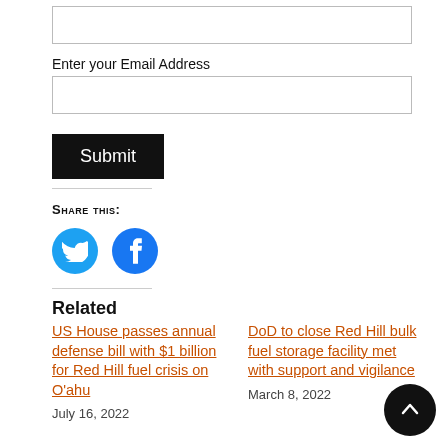[Figure (other): Empty input text box (first)]
Enter your Email Address
[Figure (other): Empty input text box (second, email)]
Submit
Share this:
[Figure (other): Twitter and Facebook social share icon circles]
Related
US House passes annual defense bill with $1 billion for Red Hill fuel crisis on O'ahu
July 16, 2022
DoD to close Red Hill bulk fuel storage facility met with support and vigilance
March 8, 2022